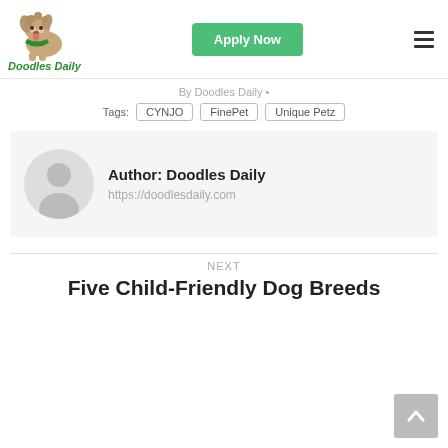[Figure (logo): Doodles Daily logo with cartoon dog and green text]
By Doodles Daily •
Tags: CYNJO  FinePet  Unique Petz
Author: Doodles Daily
https://doodlesdaily.com
NEXT
Five Child-Friendly Dog Breeds